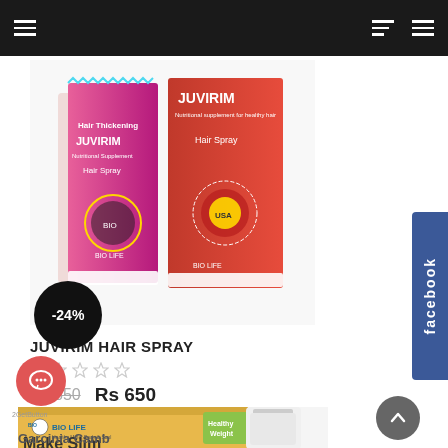Navigation bar with menu icons
[Figure (photo): JUVIRIM Hair Spray product image showing two product boxes - a pink/multicolor box and a red box labeled 'JUVIRIM Hair Spray' by BIO LIFE]
-24%
JUVIRIM HAIR SPRAY
★ ★ ★ ★ ★ (empty stars)
Rs 850  Rs 650
[Figure (photo): Make Slim Garcinia Cambogia product by BIO LIFE - Healthy Mind Body & Soul, Healthy Weight, showing box and white bottle]
facebook (side tab)